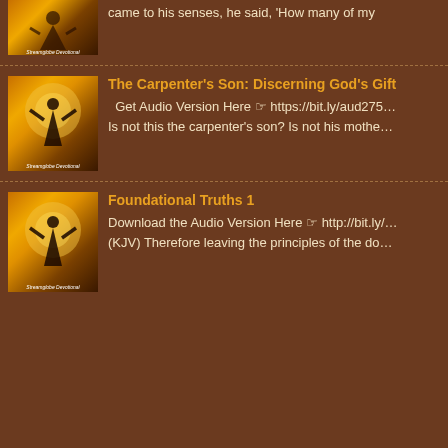came to his senses, he said, 'How many of my
The Carpenter's Son: Discerning God's Gift
Get Audio Version Here ☞ https://bit.ly/aud275...  Is not this the carpenter's son? Is not his mothe...
Foundational Truths 1
Download the Audio Version Here ☞ http://bit.ly/... (KJV) Therefore leaving the principles of the do...